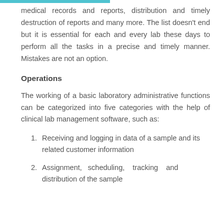medical records and reports, distribution and timely destruction of reports and many more. The list doesn't end but it is essential for each and every lab these days to perform all the tasks in a precise and timely manner. Mistakes are not an option.
Operations
The working of a basic laboratory administrative functions can be categorized into five categories with the help of clinical lab management software, such as:
Receiving and logging in data of a sample and its related customer information
Assignment, scheduling, tracking and distribution of the sample